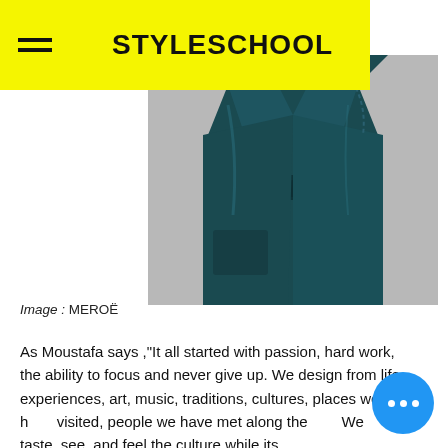STYLESCHOOL
[Figure (photo): A dark teal/blue-green leather coat with belt, shown from torso to knee on a grey background. The coat has wide lapels and a tied belt at the waist.]
Image : MEROË
As Moustafa says ,"It all started with passion, hard work, the ability to focus and never give up. We design from life experiences, art, music, traditions, cultures, places we have visited, people we have met along the way. We taste, see, and feel the culture while its